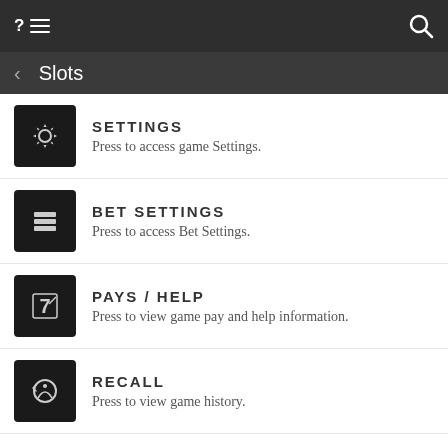?≡  [search icon]
< Slots
SETTINGS
Press to access game Settings.
BET SETTINGS
Press to access Bet Settings.
PAYS / HELP
Press to view game pay and help information.
RECALL
Press to view game history.
Game will automatically complete after 24 - 72 hours if left in a feature.
Line wins must occur on adjacent reels, beginning with the leftmost reel.